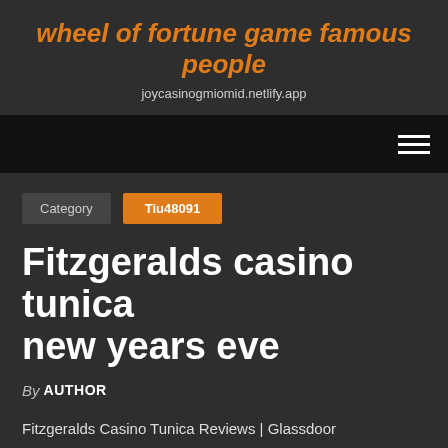wheel of fortune game famous people
joycasinogmiomid.netlify.app
[Figure (other): Navigation bar with hamburger menu icon on the right]
Category   Tiu48091
Fitzgeralds casino tunica new years eve
By AUTHOR
Fitzgeralds Casino Tunica Reviews | Glassdoor
Danish Gandhi Poker. Gus Hansen TweetsHotelophold og Kreephold i Danmark. Book dit ophold i dag - Tilbud Biloxi